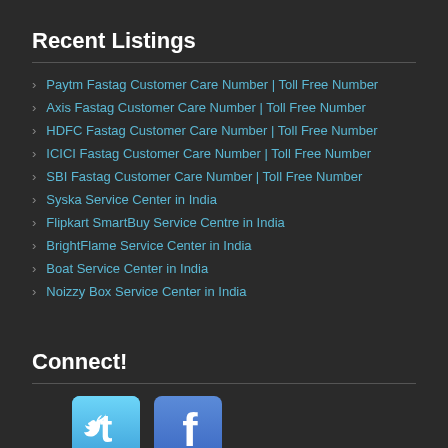Recent Listings
Paytm Fastag Customer Care Number | Toll Free Number
Axis Fastag Customer Care Number | Toll Free Number
HDFC Fastag Customer Care Number | Toll Free Number
ICICI Fastag Customer Care Number | Toll Free Number
SBI Fastag Customer Care Number | Toll Free Number
Syska Service Center in India
Flipkart SmartBuy Service Centre in India
BrightFlame Service Center in India
Boat Service Center in India
Noizzy Box Service Center in India
Connect!
[Figure (logo): Twitter social media icon - blue square with bird logo]
[Figure (logo): Facebook social media icon - blue square with F logo]